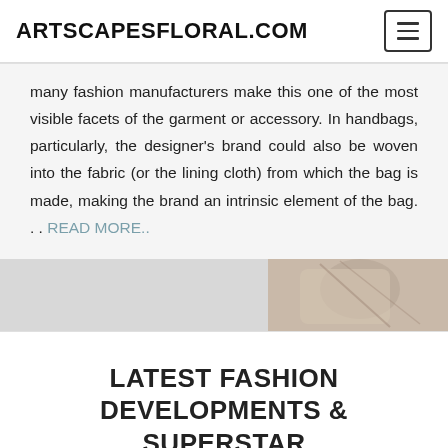ARTSCAPESFLORAL.COM
many fashion manufacturers make this one of the most visible facets of the garment or accessory. In handbags, particularly, the designer’s brand could also be woven into the fabric (or the lining cloth) from which the bag is made, making the brand an intrinsic element of the bag.... READ MORE..
[Figure (photo): Partial image of a handbag or accessory, showing a hand holding or touching it, visible in the upper right corner of an image strip.]
LATEST FASHION DEVELOPMENTS & SUPERSTAR TYPE